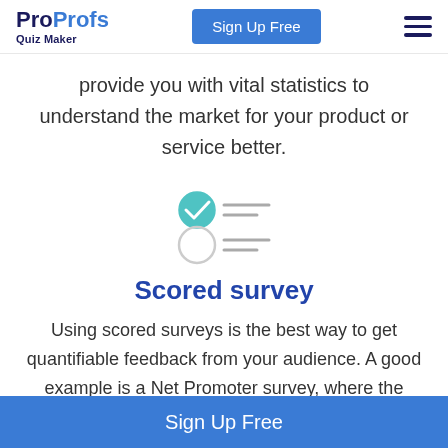ProProfs Quiz Maker | Sign Up Free
provide you with vital statistics to understand the market for your product or service better.
[Figure (illustration): Survey icon showing a checked circle with lines (filled/selected radio option) and an unchecked circle with lines (unselected radio option)]
Scored survey
Using scored surveys is the best way to get quantifiable feedback from your audience. A good example is a Net Promoter survey, where the questions are scored, helping you measure your
Sign Up Free